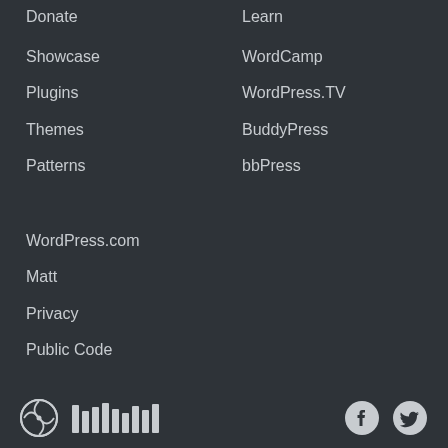Donate
Learn
Showcase
WordCamp
Plugins
WordPress.TV
Themes
BuddyPress
Patterns
bbPress
WordPress.com
Matt
Privacy
Public Code
[Figure (logo): WordPress logo icon]
[Figure (logo): WordPress wordmark bar logo]
[Figure (logo): Facebook social icon]
[Figure (logo): Twitter social icon]